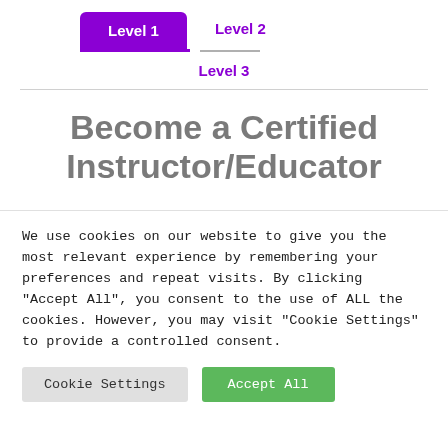Level 1
Level 2
Level 3
Become a Certified Instructor/Educator
We use cookies on our website to give you the most relevant experience by remembering your preferences and repeat visits. By clicking "Accept All", you consent to the use of ALL the cookies. However, you may visit "Cookie Settings" to provide a controlled consent.
Cookie Settings
Accept All